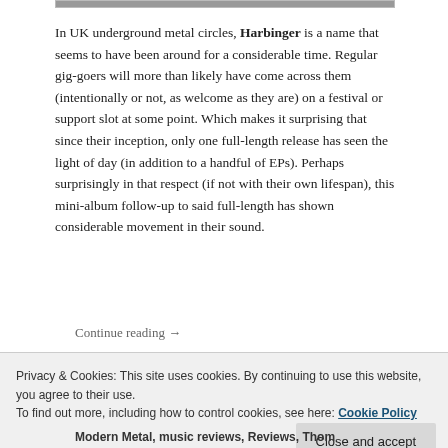[Figure (other): Partial image bar visible at top of page]
In UK underground metal circles, Harbinger is a name that seems to have been around for a considerable time. Regular gig-goers will more than likely have come across them (intentionally or not, as welcome as they are) on a festival or support slot at some point. Which makes it surprising that since their inception, only one full-length release has seen the light of day (in addition to a handful of EPs). Perhaps surprisingly in that respect (if not with their own lifespan), this mini-album follow-up to said full-length has shown considerable movement in their sound.
Continue reading →
Privacy & Cookies: This site uses cookies. By continuing to use this website, you agree to their use. To find out more, including how to control cookies, see here: Cookie Policy
Modern Metal, music reviews, Reviews, Thom